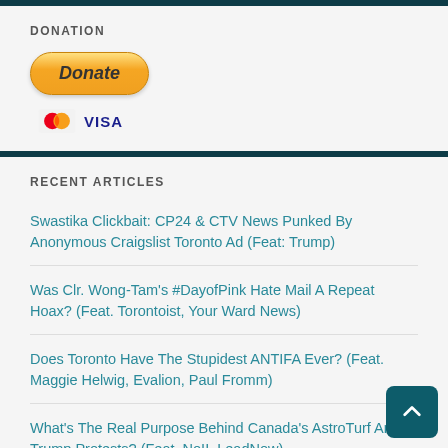DONATION
[Figure (other): PayPal Donate button with MasterCard and VISA card icons below]
RECENT ARTICLES
Swastika Clickbait: CP24 & CTV News Punked By Anonymous Craigslist Toronto Ad (Feat: Trump)
Was Clr. Wong-Tam's #DayofPink Hate Mail A Repeat Hoax? (Feat. Torontoist, Your Ward News)
Does Toronto Have The Stupidest ANTIFA Ever? (Feat. Maggie Helwig, Evalion, Paul Fromm)
What's The Real Purpose Behind Canada's AstroTurf Anti-Trump Protests? (Feat. NoII, LeadNow)